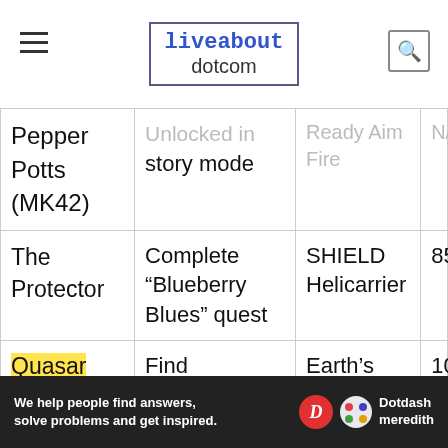liveabout dotcom
| Character | Unlock Method | Level | Cost |
| --- | --- | --- | --- |
| Pepper Potts (MK42) | Unlocked in story mode | Ready Aim Fire | N/A |
| The Protector | Complete "Blueberry Blues" quest | SHIELD Helicarrier | 85 |
| Quasar | Find character token | Earth's Mightiest | 100 |
| Quicksilver | Unlocked in | Korea Prospects | N/A |
[Figure (infographic): Dotdash Meredith ad banner: 'We help people find answers, solve problems and get inspired.']